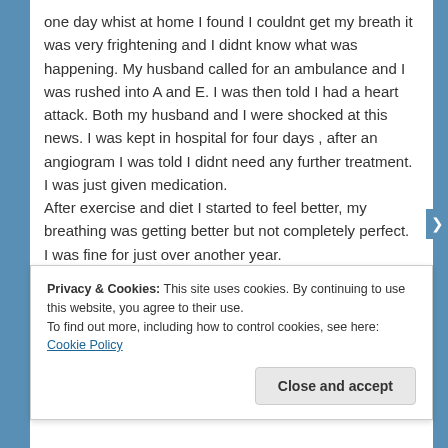one day whist at home I found I couldnt get my breath it was very frightening and I didnt know what was happening. My husband called for an ambulance and I was rushed into A and E. I was then told I had a heart attack. Both my husband and I were shocked at this news. I was kept in hospital for four days , after an angiogram I was told I didnt need any further treatment. I was just given medication. After exercise and diet I started to feel better, my breathing was getting better but not completely perfect. I was fine for just over another year.
Privacy & Cookies: This site uses cookies. By continuing to use this website, you agree to their use. To find out more, including how to control cookies, see here: Cookie Policy